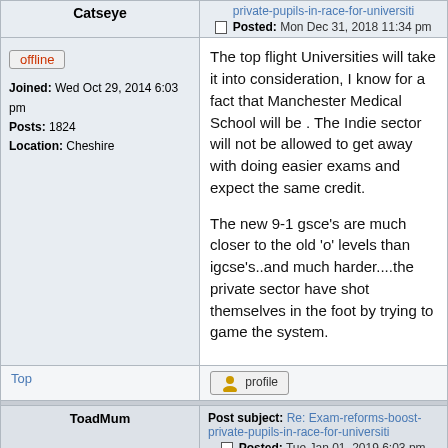| Catseye | Post subject / Posted |
| --- | --- |
| offline
Joined: Wed Oct 29, 2014 6:03 pm
Posts: 1824
Location: Cheshire | The top flight Universities will take it into consideration, I know for a fact that Manchester Medical School will be . The Indie sector will not be allowed to get away with doing easier exams and expect the same credit.

The new 9-1 gsce's are much closer to the old 'o' levels than igcse's..and much harder....the private sector have shot themselves in the foot by trying to game the system. |
Top
profile
| ToadMum | Post subject: Re: Exam-reforms-boost-private-pupils-in-race-for-universiti
Posted: Tue Jan 01, 2019 6:03 pm |
| --- | --- |